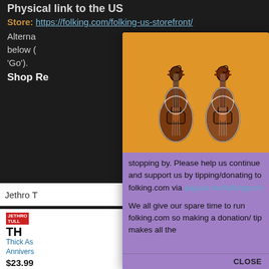Physical link to the US
Store: https://folking.com/folking-us-storefront/
Alterna ... ore below ( ... click 'Go').
Shop Re
Jethro T
Go
[Figure (illustration): Two decorative violins on an orange background, part of a purple modal popup dialog]
Thanks for stopping by. Please help us continue and support us by tipping/donating to folking.com via paypal.me/folkingcom
We all give our spare time to run folking.com so making a donation/ tip makes all the
CLOSE
Thick As ... Anniversary
$23.99
★★★